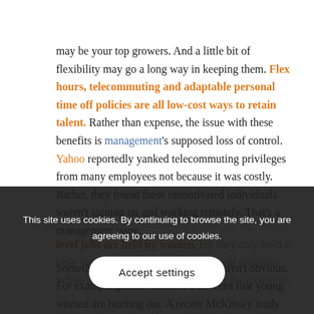may be your top growers. And a little bit of flexibility may go a long way in keeping them. Flex hours, telecommuting and adaptable personal time off policies are all low-cost ways to retain talent. Rather than expense, the issue with these benefits is management's supposed loss of control. Yahoo reportedly yanked telecommuting privileges from many employees not because it was costly. Rather, they found these unmotivated individuals weren't signing on and working remotely. That's a management issue.
Sometimes the flexibility challenges aren't obvious. For example gender. There is a concern that young women are burning out. A recent McKinsey study shows that over half of corporate entry-level jobs are held by women, but they only hold a little over one third of mid-management positions. While a portion of this difference may be accounted for by a desire to leave the workplace to have children, the rest may be result of high expectations. Employers should demand a lot from their talent,
This site uses cookies. By continuing to browse the site, you are agreeing to our use of cookies.